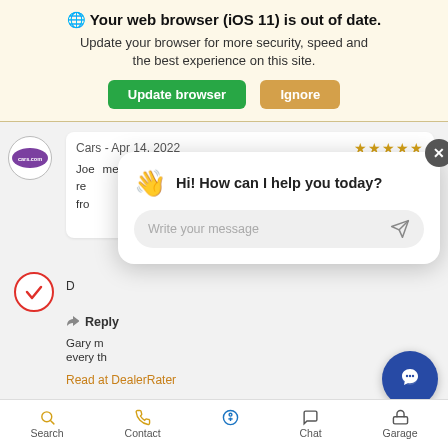🌐 Your web browser (iOS 11) is out of date.
Update your browser for more security, speed and the best experience on this site.
Update browser   Ignore
Cars - Apr 14, 2022  ★★★★★
Joe... me and I re... fr... rk
[Figure (screenshot): Chat popup widget with wave emoji and message input field. Shows: Hi! How can I help you today? with Write your message placeholder input.]
D...
Gary m... every th...
Reply
Read at DealerRater
Search   Contact   (accessibility icon)   Chat   Garage